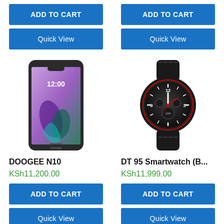ADD TO CART
ADD TO CART
Quick View
Quick View
[Figure (photo): DOOGEE N10 smartphone with purple/teal display showing 12:00]
[Figure (photo): DT 95 Smartwatch with black case and leather band, analog face showing 12 o'clock]
DOOGEE N10
DT 95 Smartwatch (B...
KSh11,200.00
KSh11,999.00
ADD TO CART
ADD TO CART
Quick View
Quick View